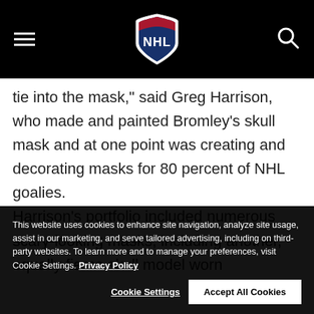NHL navigation header with logo, hamburger menu, and search icon
tie into the mask," said Greg Harrison, who made and painted Bromley's skull mask and at one point was creating and decorating masks for 80 percent of NHL goalies.
Harrison's portfolio included numerous scary-looking masks, including another, equally fierce skull model worn
This website uses cookies to enhance site navigation, analyze site usage, assist in our marketing, and serve tailored advertising, including on third-party websites. To learn more and to manage your preferences, visit Cookie Settings. Privacy Policy
Cookie Settings | Accept All Cookies